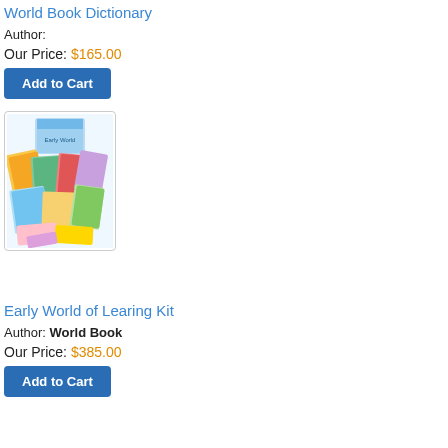World Book Dictionary
Author:
Our Price: $165.00
[Figure (photo): Collection of Early World of Learning books and materials spread out showing colorful illustrated children's books]
Early World of Learing Kit
Author: World Book
Our Price: $385.00